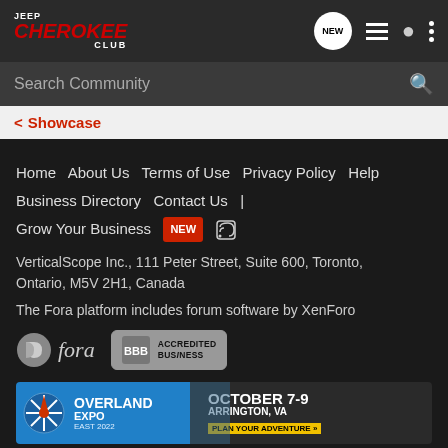Jeep Cherokee Club
Search Community
< Showcase
Home | About Us | Terms of Use | Privacy Policy | Help | Business Directory | Contact Us | Grow Your Business NEW
VerticalScope Inc., 111 Peter Street, Suite 600, Toronto, Ontario, M5V 2H1, Canada
The Fora platform includes forum software by XenForo
[Figure (logo): Fora logo and BBB Accredited Business badge]
[Figure (infographic): Overland Expo East 2022 advertisement banner - October 7-9, Arrington, VA - Plan Your Adventure]